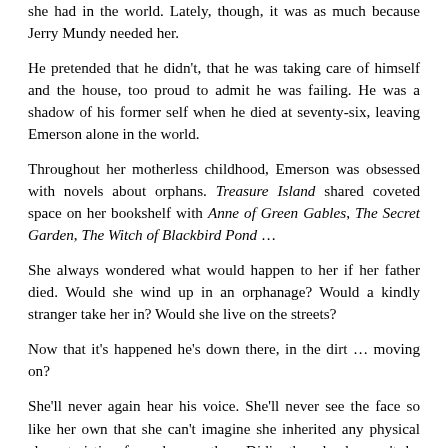she had in the world. Lately, though, it was as much because Jerry Mundy needed her.
He pretended that he didn't, that he was taking care of himself and the house, too proud to admit he was failing. He was a shadow of his former self when he died at seventy-six, leaving Emerson alone in the world.
Throughout her motherless childhood, Emerson was obsessed with novels about orphans. Treasure Island shared coveted space on her bookshelf with Anne of Green Gables, The Secret Garden, The Witch of Blackbird Pond …
She always wondered what would happen to her if her father died. Would she wind up in an orphanage? Would a kindly stranger take her in? Would she live on the streets?
Now that it's happened he's down there, in the dirt … moving on?
She'll never again hear his voice. She'll never see the face so like her own that she can't imagine she inherited any physical characteristics from her mother, Didi—though she can't be certain.
Years ago, she asked her father for a picture—preferably one that showed her mother holding her as a baby, or of her parents together. Maybe she wanted evidence that she and her father had